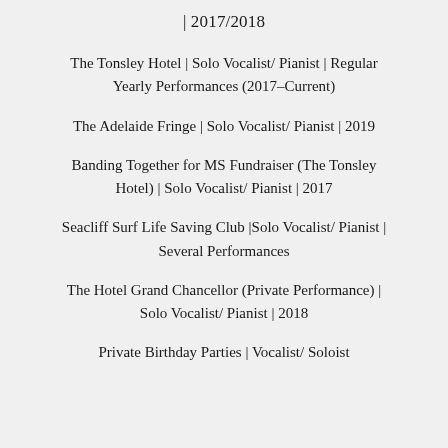| 2017/2018
The Tonsley Hotel | Solo Vocalist/ Pianist | Regular Yearly Performances (2017–Current)
The Adelaide Fringe | Solo Vocalist/ Pianist | 2019
Banding Together for MS Fundraiser (The Tonsley Hotel) | Solo Vocalist/ Pianist | 2017
Seacliff Surf Life Saving Club |Solo Vocalist/ Pianist | Several Performances
The Hotel Grand Chancellor (Private Performance) | Solo Vocalist/ Pianist | 2018
Private Birthday Parties | Vocalist/ Soloist